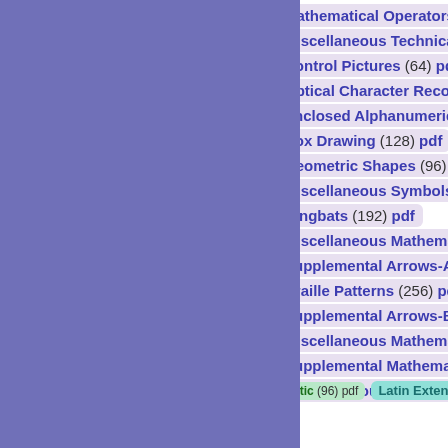Mathematical Operators (256) pdf
Miscellaneous Technical (256) pdf
Control Pictures (64) pdf
Optical Character Recognition (32) pdf
Enclosed Alphanumerics (160) pdf
Box Drawing (128) pdf  Block Elements (32) p
Geometric Shapes (96) pdf
Miscellaneous Symbols (256) pdf
Dingbats (192) pdf
Miscellaneous Mathematical Symbols-A (48) pc
Supplemental Arrows-A (16) pdf
Braille Patterns (256) pdf
Supplemental Arrows-B (128) pdf
Miscellaneous Mathematical Symbols-B (128) p
Supplemental Mathematical Operators (256) pc
Miscellaneous Symbols and Arrows (256) pdf
Glagolitic (96) pdf
Latin Extended-C (32) pdf